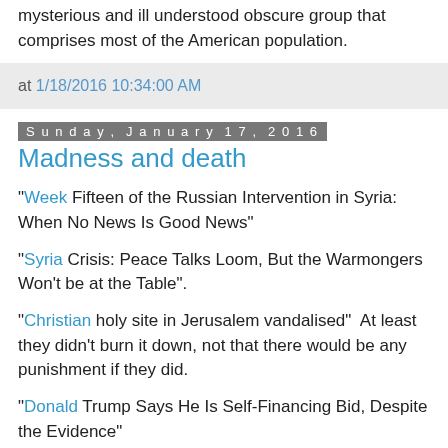mysterious and ill understood obscure group that comprises most of the American population.
at 1/18/2016 10:34:00 AM
Sunday, January 17, 2016
Madness and death
"Week Fifteen of the Russian Intervention in Syria: When No News Is Good News"
"Syria Crisis: Peace Talks Loom, But the Warmongers Won't be at the Table".
"Christian holy site in Jerusalem vandalised"  At least they didn't burn it down, not that there would be any punishment if they did.
"Donald Trump Says He Is Self-Financing Bid, Despite the Evidence"